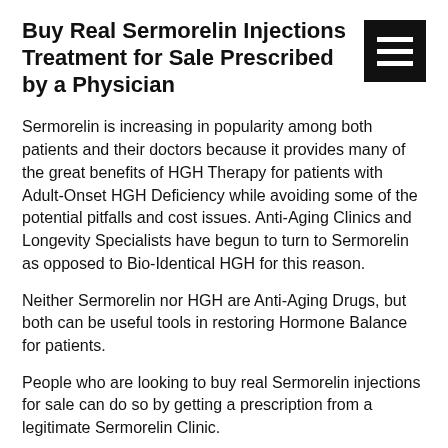Buy Real Sermorelin Injections Treatment for Sale Prescribed by a Physician
Sermorelin is increasing in popularity among both patients and their doctors because it provides many of the great benefits of HGH Therapy for patients with Adult-Onset HGH Deficiency while avoiding some of the potential pitfalls and cost issues. Anti-Aging Clinics and Longevity Specialists have begun to turn to Sermorelin as opposed to Bio-Identical HGH for this reason.
Neither Sermorelin nor HGH are Anti-Aging Drugs, but both can be useful tools in restoring Hormone Balance for patients.
People who are looking to buy real Sermorelin injections for sale can do so by getting a prescription from a legitimate Sermorelin Clinic.
Take the first step and use the communication form to